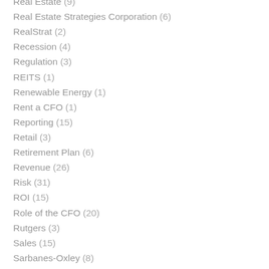Real Estate (9)
Real Estate Strategies Corporation (6)
RealStrat (2)
Recession (4)
Regulation (3)
REITS (1)
Renewable Energy (1)
Rent a CFO (1)
Reporting (15)
Retail (3)
Retirement Plan (6)
Revenue (26)
Risk (31)
ROI (15)
Role of the CFO (20)
Rutgers (3)
Sales (15)
Sarbanes-Oxley (8)